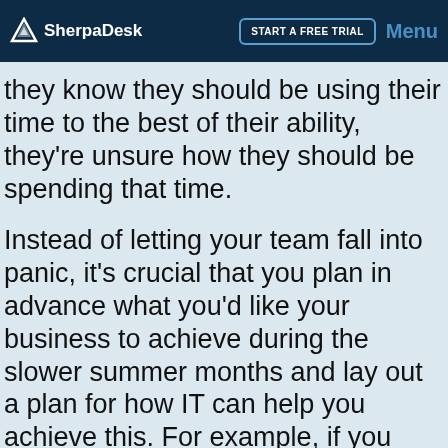SherpaDesk | START A FREE TRIAL | Menu
they know they should be using their time to the best of their ability, they're unsure how they should be spending that time.
Instead of letting your team fall into panic, it's crucial that you plan in advance what you'd like your business to achieve during the slower summer months and lay out a plan for how IT can help you achieve this. For example, if you know that there are a few neglected projects in your pipeline that